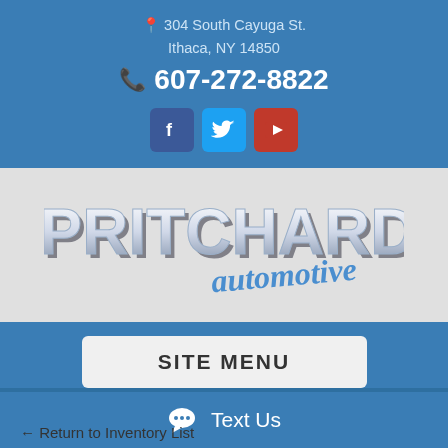304 South Cayuga St. Ithaca, NY 14850 607-272-8822
[Figure (logo): Pritchard Automotive logo with bold white 3D lettering and blue script subtitle]
SITE MENU
← Return to Inventory List
Text Us